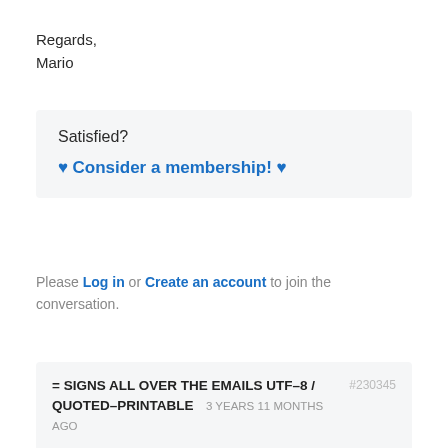Regards,
Mario
Satisfied?
❤ Consider a membership! ❤
Please Log in or Create an account to join the conversation.
= SIGNS ALL OVER THE EMAILS UTF–8 / QUOTED–PRINTABLE   3 YEARS 11 MONTHS AGO   #230345